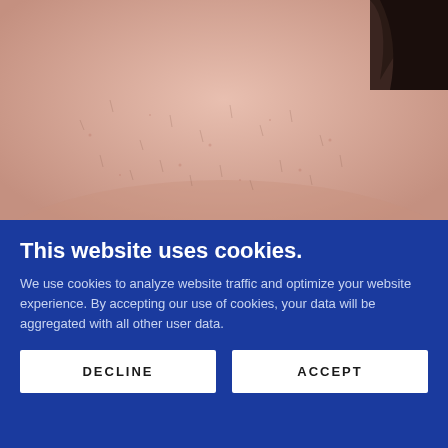[Figure (photo): Close-up photo of human chin/neck area showing fine hair stubble on skin, likely a before photo for chin laser hair removal treatment.]
Chin Laser Hair Removal
hair needs to be clipped, trimmed or shaved to skin level and darker than the skin colour for effective
This website uses cookies.
We use cookies to analyze website traffic and optimize your website experience. By accepting our use of cookies, your data will be aggregated with all other user data.
DECLINE
ACCEPT